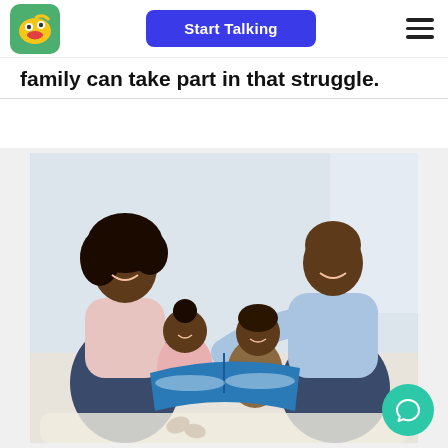Start Talking
family can take part in that struggle.
[Figure (photo): A family of four — mother, father, and two young children — sitting together on a couch reading a book with a blue cover, smiling and engaged.]
[Figure (other): Green circular chat/messaging button with speech bubble icon in bottom-right corner.]